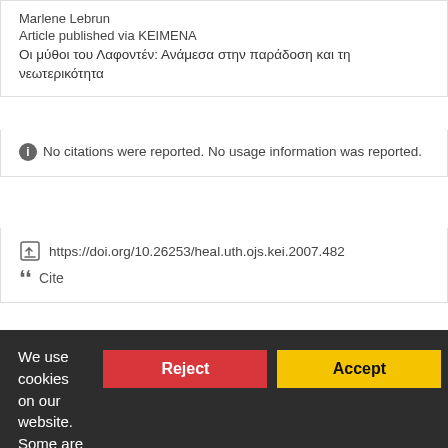Marlene Lebrun
Article published via KEIMENA
Οι μύθοι του Λαφοντέν: Ανάμεσα στην παράδοση και τη νεωτερικότητα
No citations were reported. No usage information was reported.
https://doi.org/10.26253/heal.uth.ojs.kei.2007.482
Cite
Μορφές της αρχαίας ελληνικής μυθολογίας σε βυζαντινά εικονογραφημένα χειρόγραφα
Article published via KEIMENA
We use cookies on our website. Some are technically necessary, others help us improve your experience.